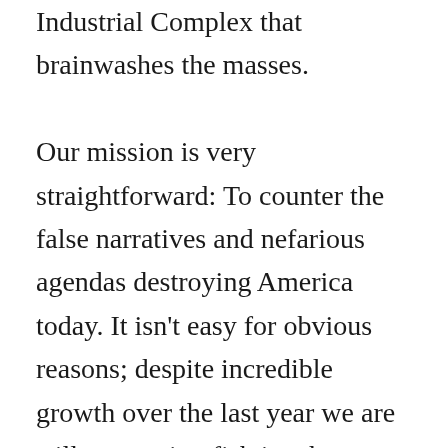Industrial Complex that brainwashes the masses.

Our mission is very straightforward: To counter the false narratives and nefarious agendas destroying America today. It isn't easy for obvious reasons; despite incredible growth over the last year we are still a very tiny fish in a huge media pond. But we're fighting and we will continue to do so, Lord willing, for as long as we possibly can. The battle for America's present and future is too important for us to back down to the giants that stand in our way.